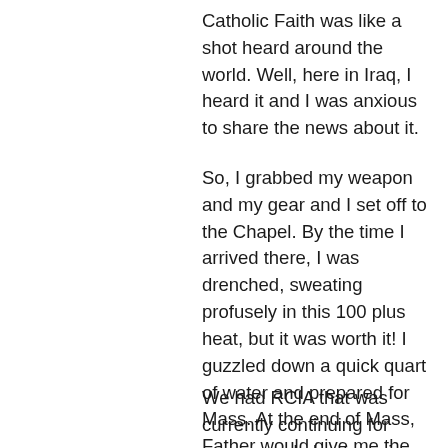Catholic Faith was like a shot heard around the world. Well, here in Iraq, I heard it and I was anxious to share the news about it.
So, I grabbed my weapon and my gear and I set off to the Chapel. By the time I arrived there, I was drenched, sweating profusely in this 100 plus heat, but it was worth it! I guzzled down a quick quart of water and prepared for Mass. At the end of Mass, Father would give me the opportunity to announce the upcoming events for the week.
We had RCIA that was currently continuing for many people kept coming who wanted to become